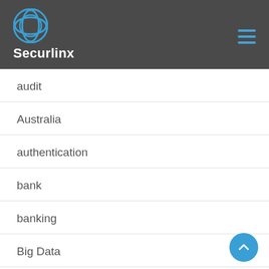Securlinx
audit
Australia
authentication
bank
banking
Big Data
biometrics
border